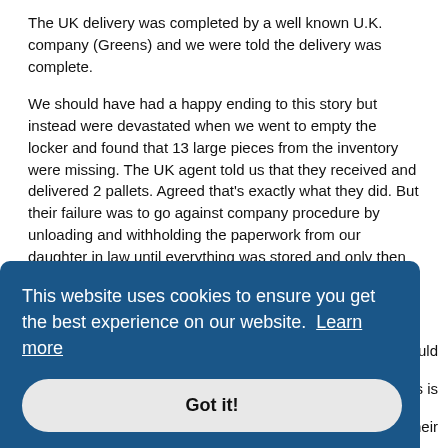The UK delivery was completed by a well known U.K. company (Greens) and we were told the delivery was complete.
We should have had a happy ending to this story but instead were devastated when we went to empty the locker and found that 13 large pieces from the inventory were missing. The UK agent told us that they received and delivered 2 pallets. Agreed that's exactly what they did. But their failure was to go against company procedure by unloading and withholding the paperwork from our daughter in law until everything was stored and only then gave her the paperwork to sign when finished! (she was told they took care of everything!). That was our biggest mistake but having said that we now know our 13 missing pieces never left this island and would have been long gone by the time the delivery was made.
We questioned this shipper, first they insisted everything was [partially obscured] would [partially obscured] s is [partially obscured] f their [partially obscured]
This website uses cookies to ensure you get the best experience on our website. Learn more
Got it!